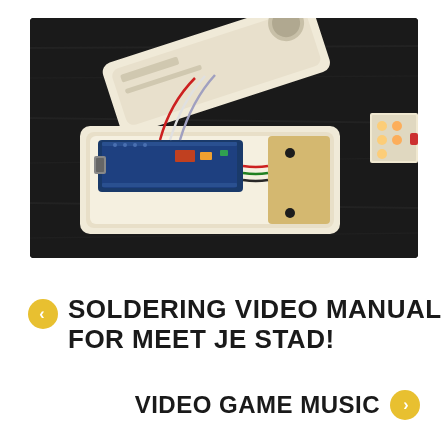[Figure (photo): Photo of an Arduino Nano microcontroller board inside a white 3D-printed enclosure/tray, with colored wires (red, white, blue/grey) connecting to components. An LED strip is visible on the right side. The device is placed on a dark wooden surface. Another white printed part is visible in the upper portion.]
SOLDERING VIDEO MANUAL FOR MEET JE STAD!
VIDEO GAME MUSIC